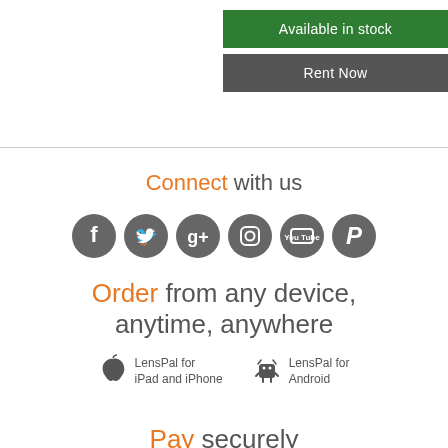Available in stock
Rent Now
Connect with us
[Figure (infographic): Six circular social media icons: Facebook, Twitter, Google+, Instagram, YouTube, Pinterest]
Order from any device, anytime, anywhere
LensPal for iPad and iPhone
LensPal for Android
Pay securely